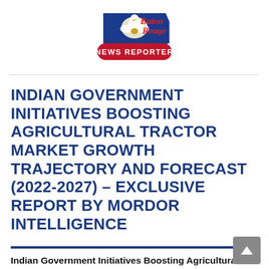[Figure (logo): Baton Rouge News Reporter logo — blue pelican state shape with red oval banner reading NEWS REPORTER and red cursive text Baton Rouge]
INDIAN GOVERNMENT INITIATIVES BOOSTING AGRICULTURAL TRACTOR MARKET GROWTH TRAJECTORY AND FORECAST (2022-2027) – EXCLUSIVE REPORT BY MORDOR INTELLIGENCE
Indian Government Initiatives Boosting Agricultural Tractor Market Growth Trajectory and Forecast (2022-2027) –